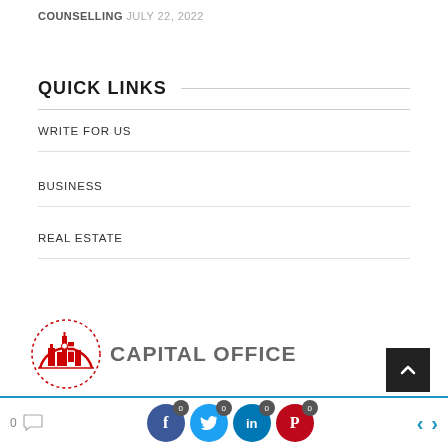COUNSELLING JULY 22, 2022
QUICK LINKS
WRITE FOR US
BUSINESS
REAL ESTATE
[Figure (logo): Capital Office logo with red circular city skyline icon and bold gray text 'CAPITAL OFFICE']
Social sharing bar with comment count 0, Facebook 0, Twitter 0, LinkedIn 0, Pinterest 0, navigation arrows